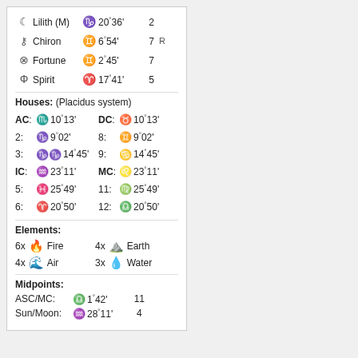Lilith (M) — Sagittarius 20°36' — House 2
Chiron — Gemini 6°54' — House 7 R
Fortune — Gemini 2°45' — House 7
Spirit — Aries 17°41' — House 5
Houses: (Placidus system)
| House | Sign | Degree | House | Sign | Degree |
| --- | --- | --- | --- | --- | --- |
| AC: | Scorpio | 10°13' | DC: | Taurus | 10°13' |
| 2: | Sagittarius | 9°02' | 8: | Gemini | 9°02' |
| 3: | Capricorn | 14°45' | 9: | Cancer | 14°45' |
| IC: | Aquarius | 23°11' | MC: | Leo | 23°11' |
| 5: | Pisces | 25°49' | 11: | Virgo | 25°49' |
| 6: | Aries | 20°50' | 12: | Libra | 20°50' |
Elements:
6x Fire   4x Earth
4x Air   3x Water
Midpoints:
ASC/MC: Libra 1°42' — 11
Sun/Moon: Aquarius 28°11' — 4